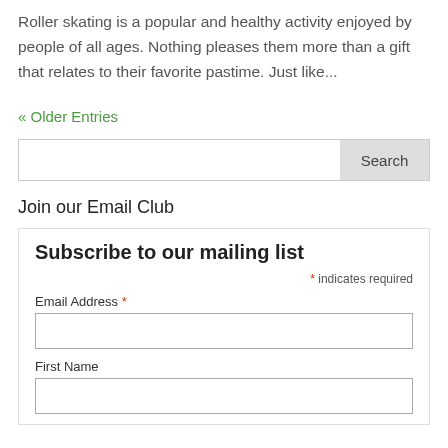Roller skating is a popular and healthy activity enjoyed by people of all ages. Nothing pleases them more than a gift that relates to their favorite pastime. Just like...
« Older Entries
Search
Join our Email Club
Subscribe to our mailing list
* indicates required
Email Address *
First Name